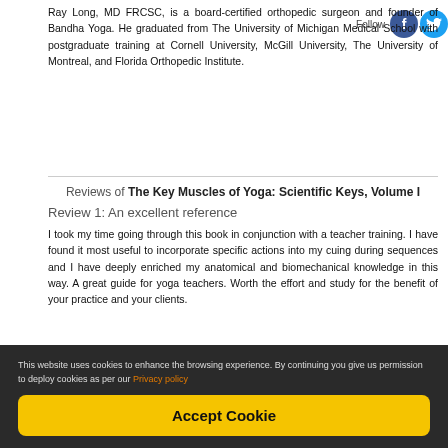Ray Long, MD FRCSC, is a board-certified orthopedic surgeon and founder of Bandha Yoga. He graduated from The University of Michigan Medical School with postgraduate training at Cornell University, McGill University, The University of Montreal, and Florida Orthopedic Institute.
Reviews of The Key Muscles of Yoga: Scientific Keys, Volume I
Review 1: An excellent reference
I took my time going through this book in conjunction with a teacher training. I have found it most useful to incorporate specific actions into my cuing during sequences and I have deeply enriched my anatomical and biomechanical knowledge in this way. A great guide for yoga teachers. Worth the effort and study for the benefit of your practice and your clients.
Customers Who Bought This
This website uses cookies to enhance the browsing experience. By continuing you give us permission to deploy cookies as per our Privacy policy
Accept Cookie